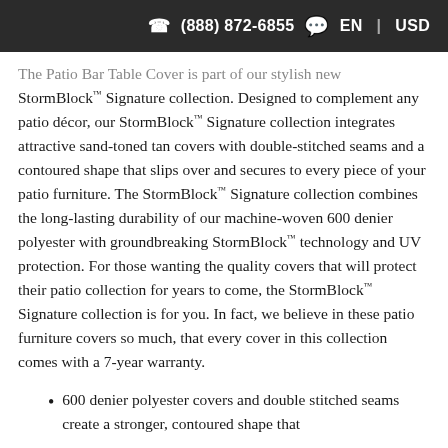(888) 872-6855  EN | USD
The Patio Bar Table Cover is part of our stylish new StormBlock™ Signature collection. Designed to complement any patio décor, our StormBlock™ Signature collection integrates attractive sand-toned tan covers with double-stitched seams and a contoured shape that slips over and secures to every piece of your patio furniture. The StormBlock™ Signature collection combines the long-lasting durability of our machine-woven 600 denier polyester with groundbreaking StormBlock™ technology and UV protection. For those wanting the quality covers that will protect their patio collection for years to come, the StormBlock™ Signature collection is for you. In fact, we believe in these patio furniture covers so much, that every cover in this collection comes with a 7-year warranty.
600 denier polyester covers and double stitched seams create a stronger, contoured shape that